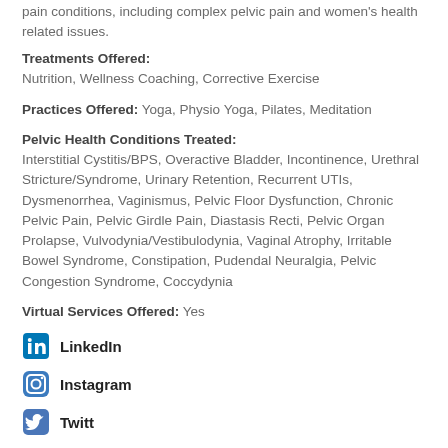pain conditions, including complex pelvic pain and women's health related issues.
Treatments Offered: Nutrition, Wellness Coaching, Corrective Exercise
Practices Offered: Yoga, Physio Yoga, Pilates, Meditation
Pelvic Health Conditions Treated: Interstitial Cystitis/BPS, Overactive Bladder, Incontinence, Urethral Stricture/Syndrome, Urinary Retention, Recurrent UTIs, Dysmenorrhea, Vaginismus, Pelvic Floor Dysfunction, Chronic Pelvic Pain, Pelvic Girdle Pain, Diastasis Recti, Pelvic Organ Prolapse, Vulvodynia/Vestibulodynia, Vaginal Atrophy, Irritable Bowel Syndrome, Constipation, Pudendal Neuralgia, Pelvic Congestion Syndrome, Coccydynia
Virtual Services Offered: Yes
LinkedIn
Instagram
Twitter